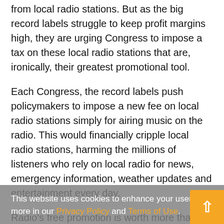from local radio stations. But as the big record labels struggle to keep profit margins high, they are urging Congress to impose a tax on these local radio stations that are, ironically, their greatest promotional tool.
Each Congress, the record labels push policymakers to impose a new fee on local radio stations simply for airing music on the radio. This would financially cripple local radio stations, harming the millions of listeners who rely on local radio for news, emergency information, weather updates and entertainment every day.
Radio's free promotion is worth more than $2.4 billion annually to record labels. Local radio continues to be the top source for listeners seeking new music, far surpassing other sources. Free radio airplay provides the recording industry increased popularity, visibility and sales for both established and new artists. Promotion by local radio goes beyond music to include concert and festival promotion, on-air
This website uses cookies to enhance your user experience. Learn more in our Privacy Policy and Terms of Use.
OKAY